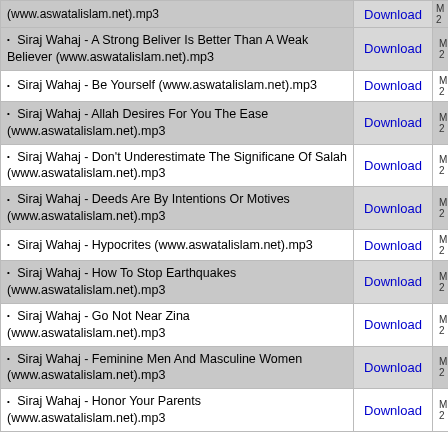| Name | Download | Info |
| --- | --- | --- |
| (www.aswatalislam.net).mp3 | Download | M 2 |
| Siraj Wahaj - A Strong Beliver Is Better Than A Weak Believer (www.aswatalislam.net).mp3 | Download | M 2 |
| Siraj Wahaj - Be Yourself (www.aswatalislam.net).mp3 | Download | M 2 |
| Siraj Wahaj - Allah Desires For You The Ease (www.aswatalislam.net).mp3 | Download | M 2 |
| Siraj Wahaj - Don't Underestimate The Significane Of Salah (www.aswatalislam.net).mp3 | Download | M 2 |
| Siraj Wahaj - Deeds Are By Intentions Or Motives (www.aswatalislam.net).mp3 | Download | M 2 |
| Siraj Wahaj - Hypocrites (www.aswatalislam.net).mp3 | Download | M 2 |
| Siraj Wahaj - How To Stop Earthquakes (www.aswatalislam.net).mp3 | Download | M 2 |
| Siraj Wahaj - Go Not Near Zina (www.aswatalislam.net).mp3 | Download | M 2 |
| Siraj Wahaj - Feminine Men And Masculine Women (www.aswatalislam.net).mp3 | Download | M 2 |
| Siraj Wahaj - Honor Your Parents (www.aswatalislam.net).mp3 | Download | M 2 |